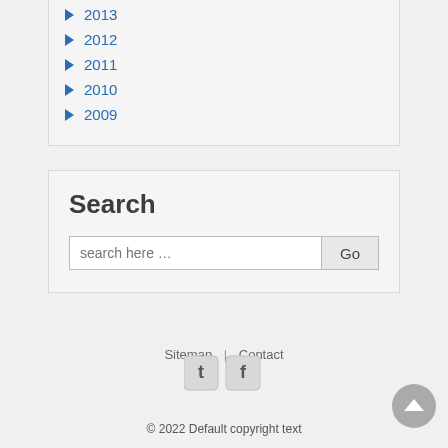► 2013
► 2012
► 2011
► 2010
► 2009
Search
search here …
Sitemap | Contact
[Figure (other): Twitter and Facebook social media icon buttons]
© 2022 Default copyright text